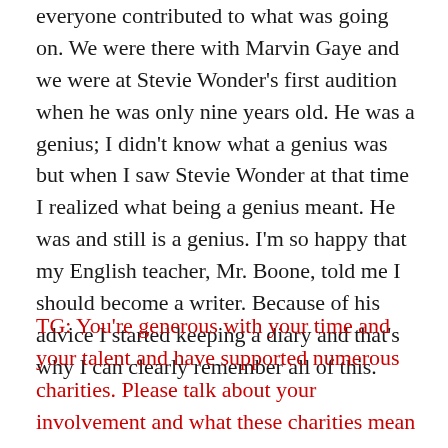everyone contributed to what was going on. We were there with Marvin Gaye and we were at Stevie Wonder's first audition when he was only nine years old. He was a genius; I didn't know what a genius was but when I saw Stevie Wonder at that time I realized what being a genius meant. He was and still is a genius. I'm so happy that my English teacher, Mr. Boone, told me I should become a writer. Because of his advice I started keeping a diary and that's why I can clearly remember all of this.
TG: You're generous with your time and your talent and have supported numerous charities. Please talk about your involvement and what these charities mean to you.